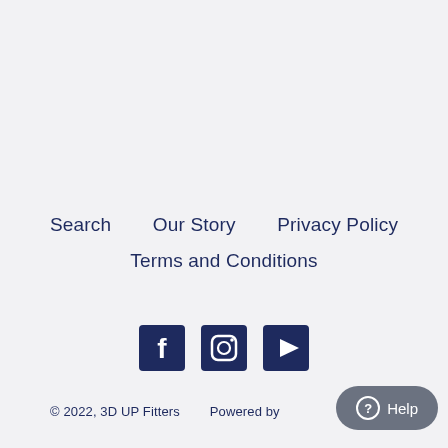Search
Our Story
Privacy Policy
Terms and Conditions
[Figure (other): Social media icons: Facebook, Instagram, YouTube]
© 2022, 3D UP Fitters      Powered by